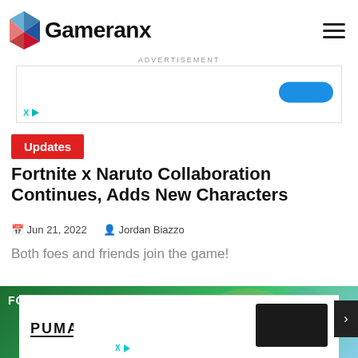Gameranx
[Figure (screenshot): Advertisement banner with blue button and X/play icons]
Updates
Fortnite x Naruto Collaboration Continues, Adds New Characters
Jun 21, 2022  Jordan Biazzo
Both foes and friends join the game!
[Figure (screenshot): Fortnite x Naruto collaboration promotional image showing Naruto character and game title logo]
[Figure (screenshot): Puma advertisement banner with dark box on right side]